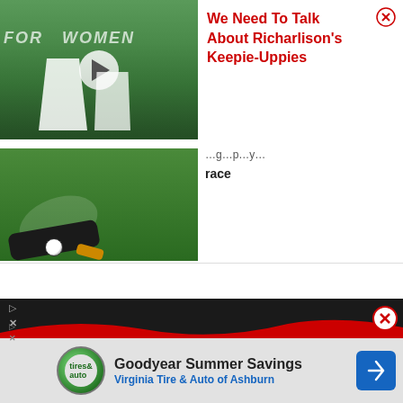[Figure (screenshot): Video popup overlay showing a soccer/football video thumbnail with title 'WE NEED TO TALK ABOUT RICHARLISON' and play button. The right side shows the text title in red and a close (X) button.]
We Need To Talk About Richarlison's Keepie-Uppies
race
[Figure (screenshot): Bottom advertisement banner for Goodyear Summer Savings - Virginia Tire & Auto of Ashburn with logo, text, and navigation arrow. Has a dark header with red wave design and close X button.]
Goodyear Summer Savings
Virginia Tire & Auto of Ashburn